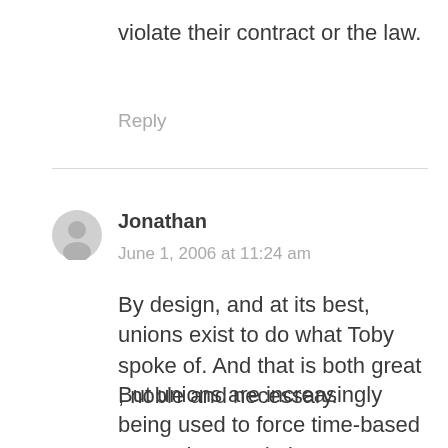violate their contract or the law.
Reply
Jonathan
June 1, 2006 at 11:24 am
By design, and at its best, unions exist to do what Toby spoke of. And that is both great , noble and necessary.
But unions are increasingly being used to force time-based promotions and give an excess of benefits/raises to